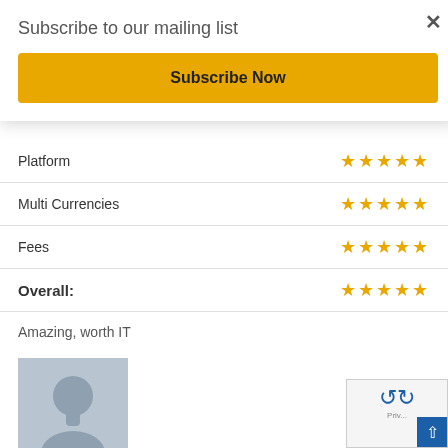Subscribe to our mailing list
Subscribe Now
Platform ★★★★★
Multi Currencies ★★★★★
Fees ★★★★★
Overall: ★★★★★
Amazing, worth IT
[Figure (photo): Default user avatar silhouette placeholder image]